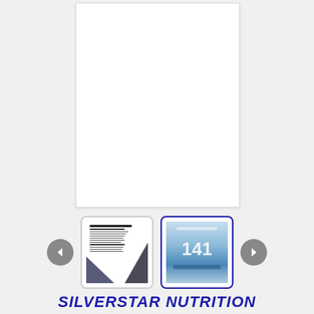[Figure (photo): Main product image display area - white blank/empty product image panel]
[Figure (screenshot): Thumbnail 1: Nutrition facts label with blue/gray diagonal design]
[Figure (photo): Thumbnail 2 (active/selected): Silver Star Nutrition product bag showing '141' branding with blue water/sky background]
SILVERSTAR NUTRITION